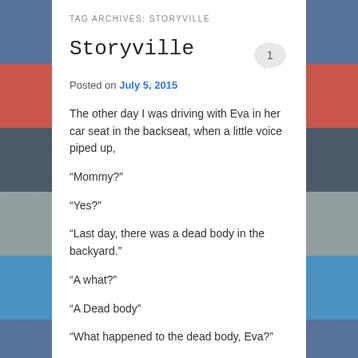TAG ARCHIVES: STORYVILLE
Storyville
Posted on July 5, 2015
The other day I was driving with Eva in her car seat in the backseat, when a little voice piped up,
“Mommy?”
“Yes?”
“Last day, there was a dead body in the backyard.”
“A what?”
“A Dead body”
“What happened to the dead body, Eva?”